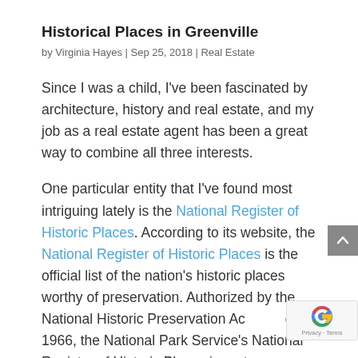Historical Places in Greenville
by Virginia Hayes | Sep 25, 2018 | Real Estate
Since I was a child, I've been fascinated by architecture, history and real estate, and my job as a real estate agent has been a great way to combine all three interests.
One particular entity that I've found most intriguing lately is the National Register of Historic Places. According to its website, the National Register of Historic Places is the official list of the nation's historic places worthy of preservation. Authorized by the National Historic Preservation Act of 1966, the National Park Service's National Register of Historic Places is part